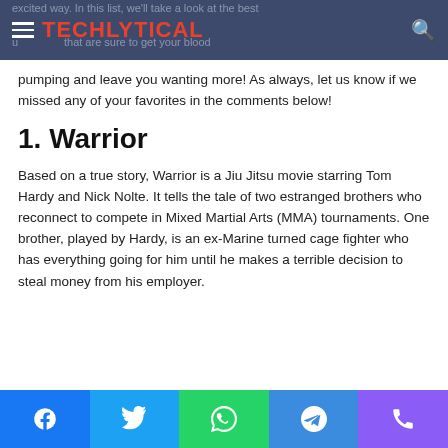TECHLYTICAL
pumping and leave you wanting more! As always, let us know if we missed any of your favorites in the comments below!
1. Warrior
Based on a true story, Warrior is a Jiu Jitsu movie starring Tom Hardy and Nick Nolte. It tells the tale of two estranged brothers who reconnect to compete in Mixed Martial Arts (MMA) tournaments. One brother, played by Hardy, is an ex-Marine turned cage fighter who has everything going for him until he makes a terrible decision to steal money from his employer.
Share buttons: Facebook, Twitter, WhatsApp, Telegram, Phone